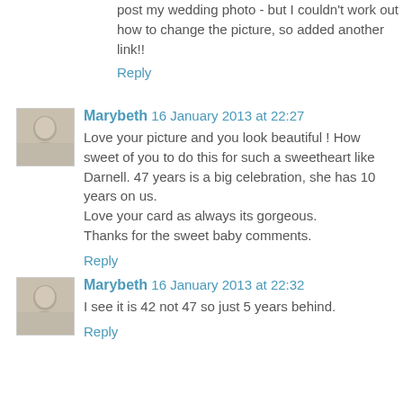post my wedding photo - but I couldn't work out how to change the picture, so added another link!!
Reply
Marybeth 16 January 2013 at 22:27
Love your picture and you look beautiful ! How sweet of you to do this for such a sweetheart like Darnell. 47 years is a big celebration, she has 10 years on us.
Love your card as always its gorgeous.
Thanks for the sweet baby comments.
Reply
Marybeth 16 January 2013 at 22:32
I see it is 42 not 47 so just 5 years behind.
Reply